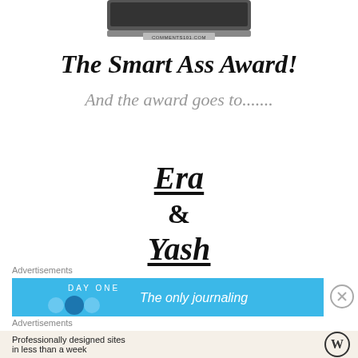[Figure (screenshot): Top portion of a phone/device showing a website URL 'comments101.com' at the bottom of the image]
The Smart Ass Award!
And the award goes to.......
Era
&
Yash
Advertisements
[Figure (screenshot): Day One journaling app advertisement with blue background showing 'The only journaling']
Advertisements
Professionally designed sites in less than a week